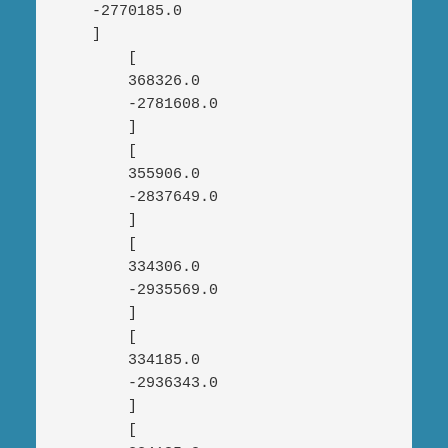-2770185.0
]
    [
    368326.0
    -2781608.0
    ]
    [
    355906.0
    -2837649.0
    ]
    [
    334306.0
    -2935569.0
    ]
    [
    334185.0
    -2936343.0
    ]
    [
    334185.0